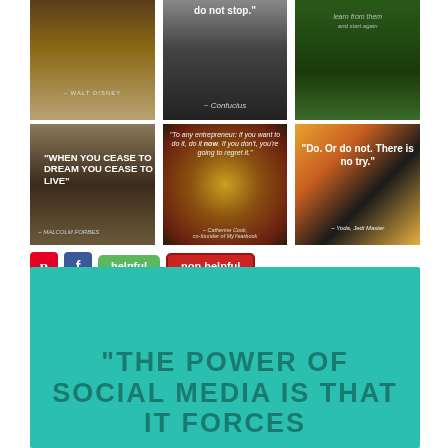[Figure (photo): Grid of 6 motivational quote images arranged in 2 rows of 3. Top row: Walt Disney quote on wood background, Confucius 'do not stop' quote on dark background, unknown quote on green grass. Bottom row: Malcolm Forbes 'When you cease to dream you cease to live' on dark stone, Catherine Cook entrepreneur quote on bokeh lights, Yoda 'Do. Or do not. There is no try.' on orange/dark background.]
[Figure (infographic): Teal/turquoise banner with social media share buttons (Pinterest, Facebook), helpful/non helpful rating buttons, and beginning of quote 'THE POWER OF SOCIAL MEDIA IS THAT IT FORCES' in dark teal text on teal background.]